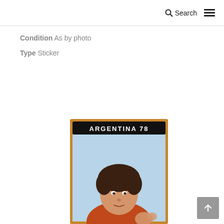Search ≡
Condition As by photo
Type Sticker
[Figure (photo): Argentina 78 Panini sticker showing a curly-haired football player with 'ARGENTINA 78' text at the top of the sticker card]